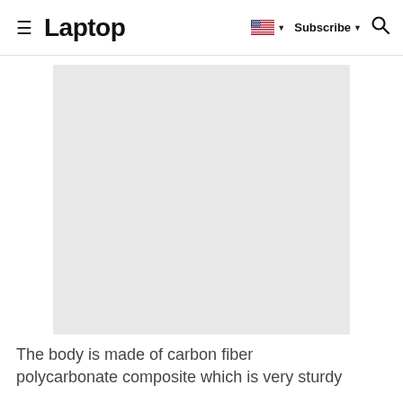≡ Laptop   🇺🇸 ▾   Subscribe ▾   🔍
[Figure (photo): Large light gray placeholder image rectangle]
The body is made of carbon fiber polycarbonate composite which is very sturdy